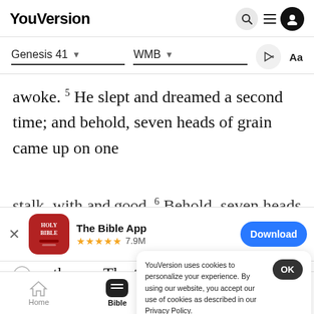YouVersion
Genesis 41  WMB
awoke. 5 He slept and dreamed a second time; and behold, seven heads of grain came up on one
[Figure (screenshot): The Bible App download banner with Holy Bible icon, 5-star rating 7.9M, and Download button]
er them.  The thin heads of grain swall
up the s
awoke,
YouVersion uses cookies to personalize your experience. By using our website, you accept our use of cookies as described in our Privacy Policy.
Home  Bible  Plans  Videos